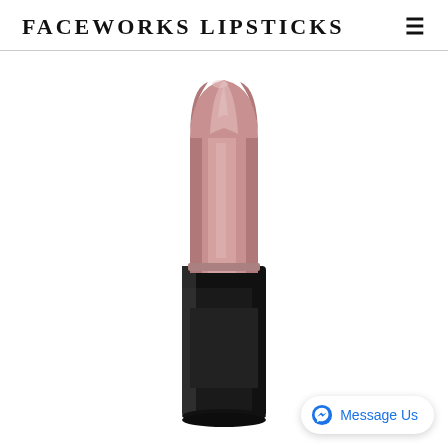FACEWORKS LIPSTICKS
[Figure (photo): A pink-nude lipstick bullet extended from a black tube, photographed on a white background. The lipstick color is a soft muted pink/nude tone. The tube is matte black.]
Message Us